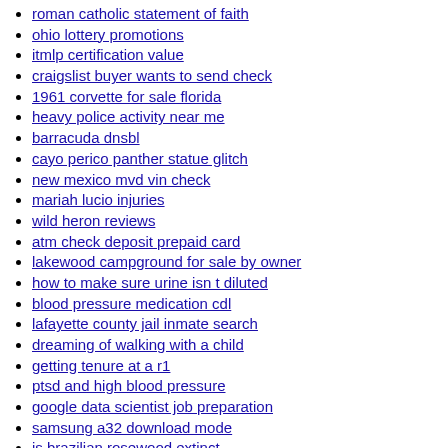roman catholic statement of faith
ohio lottery promotions
itmlp certification value
craigslist buyer wants to send check
1961 corvette for sale florida
heavy police activity near me
barracuda dnsbl
cayo perico panther statue glitch
new mexico mvd vin check
mariah lucio injuries
wild heron reviews
atm check deposit prepaid card
lakewood campground for sale by owner
how to make sure urine isn t diluted
blood pressure medication cdl
lafayette county jail inmate search
dreaming of walking with a child
getting tenure at a r1
ptsd and high blood pressure
google data scientist job preparation
samsung a32 download mode
is brazilian rosewood extinct
zee5 web series
tube fly tubes
semantic error manga